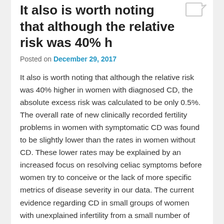It also is worth noting that although the relative risk was 40% h
Posted on December 29, 2017
It also is worth noting that although the relative risk was 40% higher in women with diagnosed CD, the absolute excess risk was calculated to be only 0.5%. The overall rate of new clinically recorded fertility problems in women with symptomatic CD was found to be slightly lower than the rates in women without CD. These lower rates may be explained by an increased focus on resolving celiac symptoms before women try to conceive or the lack of more specific metrics of disease severity in our data. The current evidence regarding CD in small groups of women with unexplained infertility from a small number of studies has been generalized to raise
concern among all women with CD by highlighting women with infertility as one of the associated conditions Panobinostat mouse in CD 17, 45 and 46 Although